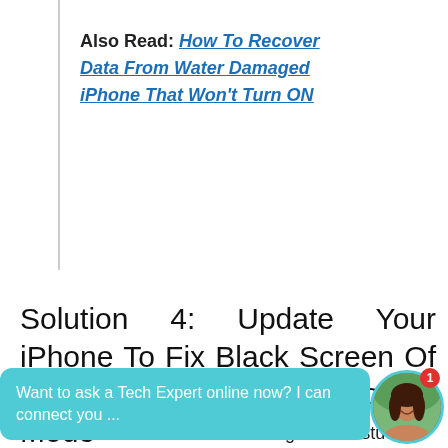Also Read: How To Recover Data From Water Damaged iPhone That Won't Turn ON
Solution 4: Update Your iPhone To Fix Black Screen Of Death Error Via Recovery Mode
Another solution to fix this irritating iPhone stuck at
[Figure (screenshot): Chat widget overlay at the bottom: teal bubble saying 'Want to ask a Tech Expert online now? I can connect you ...' with a circular avatar photo of a woman on the right with a red notification badge showing '1'.]